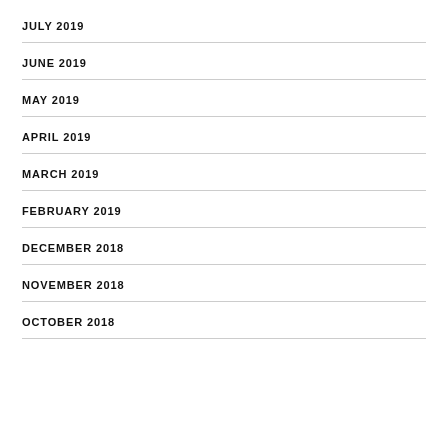JULY 2019
JUNE 2019
MAY 2019
APRIL 2019
MARCH 2019
FEBRUARY 2019
DECEMBER 2018
NOVEMBER 2018
OCTOBER 2018